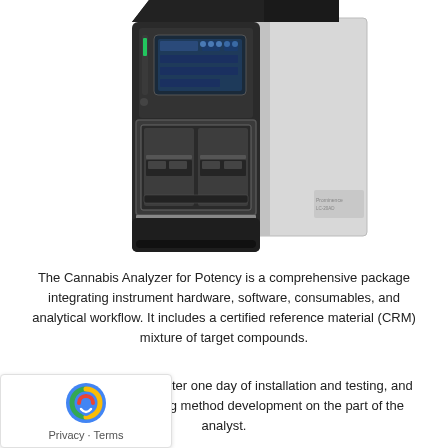[Figure (photo): A laboratory analytical instrument — the Cannabis Analyzer for Potency. It is a large black and silver HPLC-type device with a touchscreen display on the upper black module and a sample tray compartment in the middle, with a light gray tower/column on the right side.]
The Cannabis Analyzer for Potency is a comprehensive package integrating instrument hardware, software, consumables, and analytical workflow. It includes a certified reference material (CRM) mixture of target compounds.
...tion is ready to use after one day of installation and testing, and ...s no time-consuming method development on the part of the analyst.